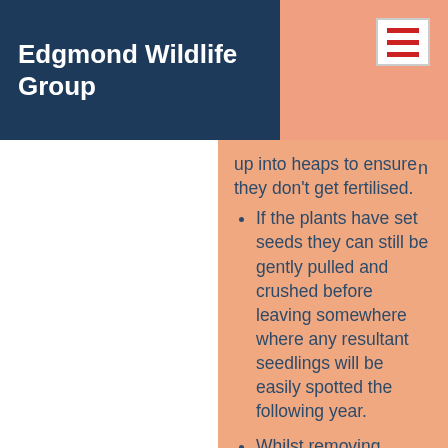Edgmond Wildlife Group
up into heaps to ensure they don't get fertilised.
If the plants have set seeds they can still be gently pulled and crushed before leaving somewhere where any resultant seedlings will be easily spotted the following year.
Whilst removing plants from the riverbank was satisfying, it wasn't the best use of time. We can only hope to hold the invasion back to the bank. As things stand at present there will always be plants that grow and set seed on the banks of the Strine. The best strategy here is to regularly 'top' them